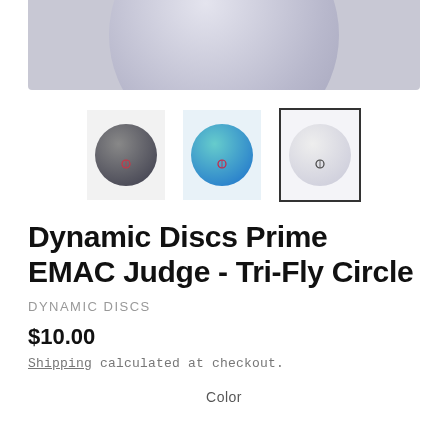[Figure (photo): Top portion of a white/grey disc golf disc product image cropped at top]
[Figure (photo): Three product thumbnail images of disc golf discs: dark grey, blue, and white/grey (selected)]
Dynamic Discs Prime EMAC Judge - Tri-Fly Circle
DYNAMIC DISCS
$10.00
Shipping calculated at checkout.
Color